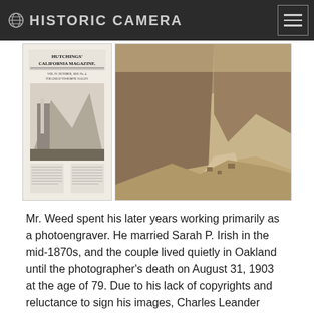HISTORIC CAMERA
[Figure (photo): Two historical images side by side: left is a black and white magazine cover titled 'Hutchings' California Magazine'; right is a sepia-toned photograph of a mountain valley landscape.]
Mr. Weed spent his later years working primarily as a photoengraver. He married Sarah P. Irish in the mid-1870s, and the couple lived quietly in Oakland until the photographer's death on August 31, 1903 at the age of 79. Due to his lack of copyrights and reluctance to sign his images, Charles Leander Weed's legacy